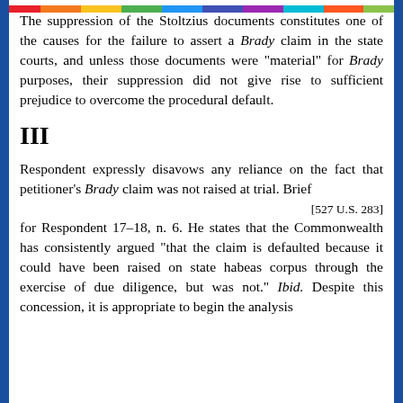The suppression of the Stoltzius documents constitutes one of the causes for the failure to assert a Brady claim in the state courts, and unless those documents were "material" for Brady purposes, their suppression did not give rise to sufficient prejudice to overcome the procedural default.
III
Respondent expressly disavows any reliance on the fact that petitioner's Brady claim was not raised at trial. Brief
[527 U.S. 283]
for Respondent 17-18, n. 6. He states that the Commonwealth has consistently argued "that the claim is defaulted because it could have been raised on state habeas corpus through the exercise of due diligence, but was not." Ibid. Despite this concession, it is appropriate to begin the analysis